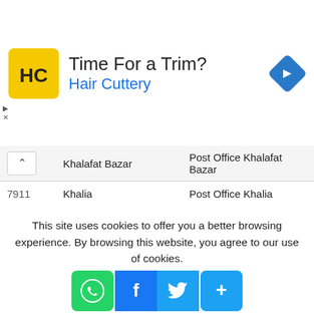[Figure (other): Hair Cuttery advertisement banner with logo, headline 'Time For a Trim?', subheadline 'Hair Cuttery', and a blue navigation arrow icon on the right.]
|  | Khalafat Bazar | Post Office Khalafat Bazar |
| --- | --- | --- |
| 7911 | Khalia | Post Office Khalia |
| 2460 | Khaliajhri | Post Office Khaliajhri |
| 3808 | Khalifar Hat | Post Office Khalifar Hat |
| 3842 | Khalishpur | Post Office Khalishpur |
| 1324 | Khalpar | Post Office Khalpar |
This site uses cookies to offer you a better browsing experience. By browsing this website, you agree to our use of cookies.
[Figure (other): Social sharing buttons: WhatsApp (green), Facebook (blue), Twitter (light blue), and More/Plus (light blue).]